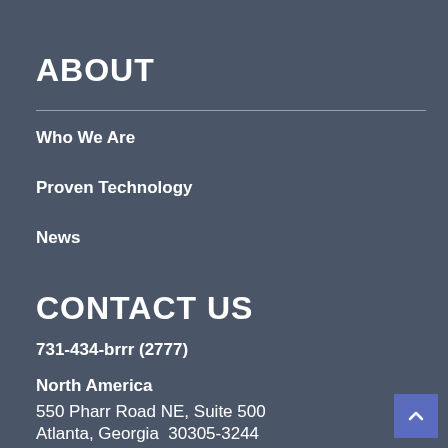ABOUT
Who We Are
Proven Technology
News
CONTACT US
731-434-brrr (2777)
North America
550 Pharr Road NE, Suite 500
Atlanta, Georgia  30305-3244